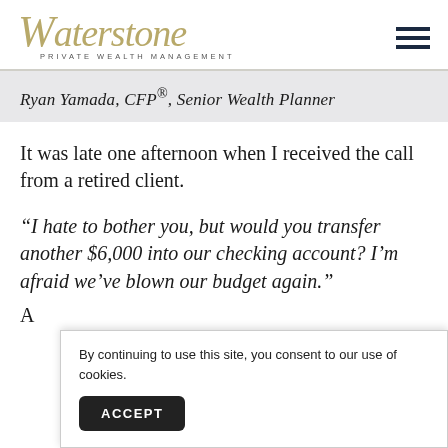Waterstone Private Wealth Management
Ryan Yamada, CFP®, Senior Wealth Planner
It was late one afternoon when I received the call from a retired client.
“I hate to bother you, but would you transfer another $6,000 into our checking account? I’m afraid we’ve blown our budget again.”
A
By continuing to use this site, you consent to our use of cookies.